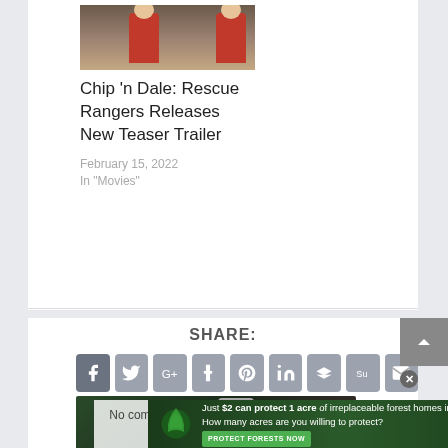[Figure (photo): Thumbnail image of animated chipmunk characters (Chip and Dale) from Rescue Rangers, shown in reddish-brown costumes on a reflective floor]
Chip 'n Dale: Rescue Rangers Releases New Teaser Trailer
February 15, 2022
In "Movies"
SHARE:
[Figure (screenshot): Row of social media sharing icons (Facebook, Twitter, Google+, Tumblr, Pinterest, LinkedIn, Buffer, StumbleUpon, Email) and a video player overlay showing 'No compatible source was found for this media.' with a print icon]
[Figure (photo): Advertisement banner: 'Just $2 can protect 1 acre of irreplaceable forest homes in the Amazon. How many acres are you willing to protect?' with PROTECT FORESTS NOW button on dark forest background]